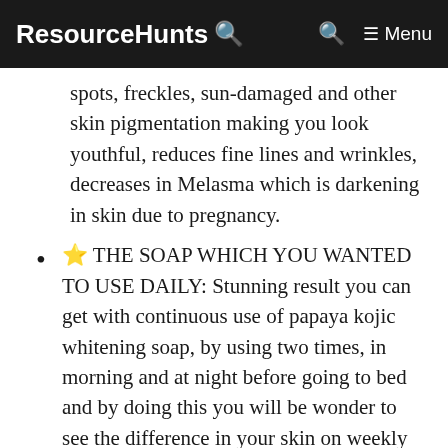ResourceHunts 🔍  🔍  ☰ Menu
spots, freckles, sun-damaged and other skin pigmentation making you look youthful, reduces fine lines and wrinkles, decreases in Melasma which is darkening in skin due to pregnancy.
⭐ THE SOAP WHICH YOU WANTED TO USE DAILY: Stunning result you can get with continuous use of papaya kojic whitening soap, by using two times, in morning and at night before going to bed and by doing this you will be wonder to see the difference in your skin on weekly basis and will remember that what skin you had before use and now have fresh, smooth and younger looking